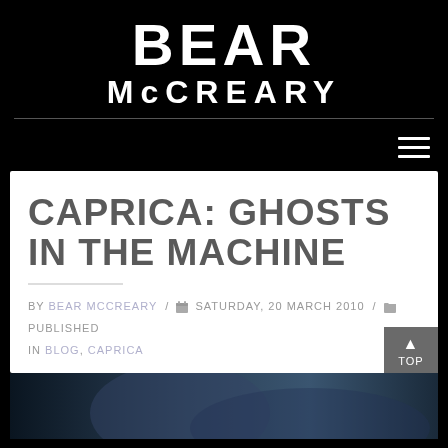BEAR McCREARY
CAPRICA: GHOSTS IN THE MACHINE
BY BEAR MCCREARY / SATURDAY, 20 MARCH 2010 / PUBLISHED IN BLOG, CAPRICA
[Figure (photo): Dark photo, partially visible at bottom of page]